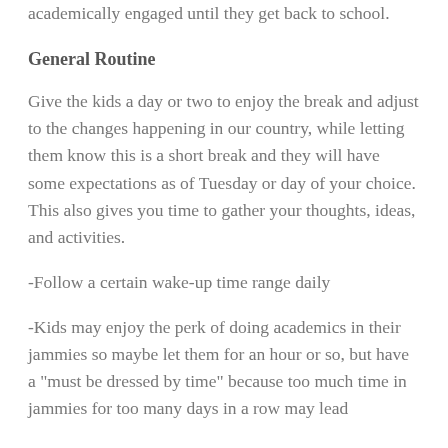academically engaged until they get back to school.
General Routine
Give the kids a day or two to enjoy the break and adjust to the changes happening in our country, while letting them know this is a short break and they will have some expectations as of Tuesday or day of your choice. This also gives you time to gather your thoughts, ideas, and activities.
-Follow a certain wake-up time range daily
-Kids may enjoy the perk of doing academics in their jammies so maybe let them for an hour or so, but have a "must be dressed by time" because too much time in jammies for too many days in a row may lead